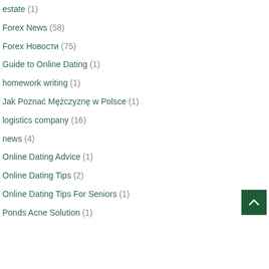estate (1)
Forex News (58)
Forex Новости (75)
Guide to Online Dating (1)
homework writing (1)
Jak Poznać Mężczyznę w Polsce (1)
logistics company (16)
news (4)
Online Dating Advice (1)
Online Dating Tips (2)
Online Dating Tips For Seniors (1)
Ponds Acne Solution (1)
[Figure (other): Dark green scroll-to-top button with upward chevron arrow icon]